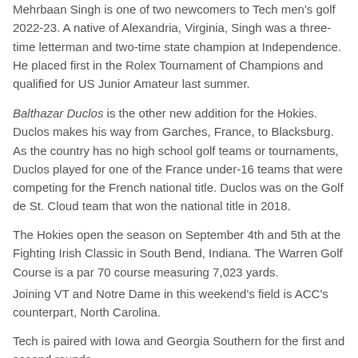Mehrbaan Singh is one of two newcomers to Tech men's golf 2022-23. A native of Alexandria, Virginia, Singh was a three-time letterman and two-time state champion at Independence. He placed first in the Rolex Tournament of Champions and qualified for US Junior Amateur last summer.
Balthazar Duclos is the other new addition for the Hokies. Duclos makes his way from Garches, France, to Blacksburg. As the country has no high school golf teams or tournaments, Duclos played for one of the France under-16 teams that were competing for the French national title. Duclos was on the Golf de St. Cloud team that won the national title in 2018.
The Hokies open the season on September 4th and 5th at the Fighting Irish Classic in South Bend, Indiana. The Warren Golf Course is a par 70 course measuring 7,023 yards.
Joining VT and Notre Dame in this weekend's field is ACC's counterpart, North Carolina.
Tech is paired with Iowa and Georgia Southern for the first and second rounds